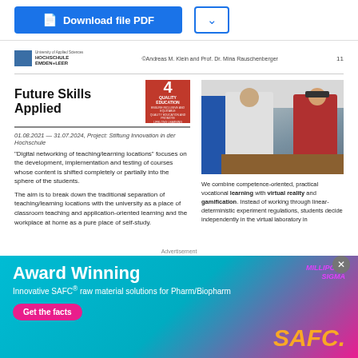[Figure (screenshot): Download file PDF button (blue) and chevron dropdown button]
©Andreas M. Klein and Prof. Dr. Mina Rauschenberger   11
Future Skills Applied
[Figure (photo): Red badge with number 4 and QUALITY EDUCATION label]
[Figure (photo): Photo of two people in a lab/classroom setting, one wearing VR headset]
01.08.2021 — 31.07.2024, Project: Stiftung Innovation in der Hochschule
"Digital networking of teaching/learning locations" focuses on the development, implementation and testing of courses whose content is shifted completely or partially into the sphere of the students.
The aim is to break down the traditional separation of teaching/learning locations with the university as a place of classroom teaching and application-oriented learning and the workplace at home as a pure place of self-study.
We combine competence-oriented, practical vocational learning with virtual reality and gamification. Instead of working through linear-deterministic experiment regulations, students decide independently in the virtual laboratory in
Advertisement
[Figure (screenshot): Advertisement banner: Award Winning - Innovative SAFC raw material solutions for Pharm/Biopharm - Get the facts - SAFC logo]